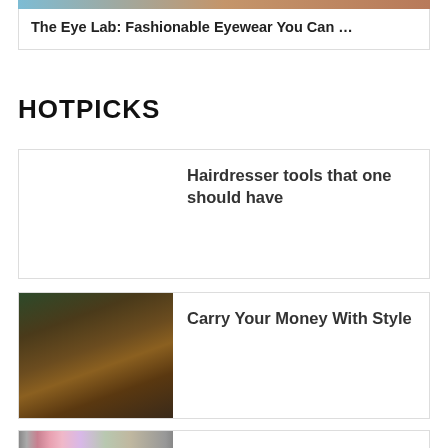[Figure (photo): Top portion of a fashion/eyewear article card with a photo of a person]
The Eye Lab: Fashionable Eyewear You Can ...
HOTPICKS
[Figure (photo): Blank/white placeholder image for hairdresser tools article]
Hairdresser tools that one should have
[Figure (photo): Photo of a brown leather wallet on a wooden surface]
Carry Your Money With Style
[Figure (photo): Photo of colorful clothes hanging on racks]
A Boost To The Fashion Industry